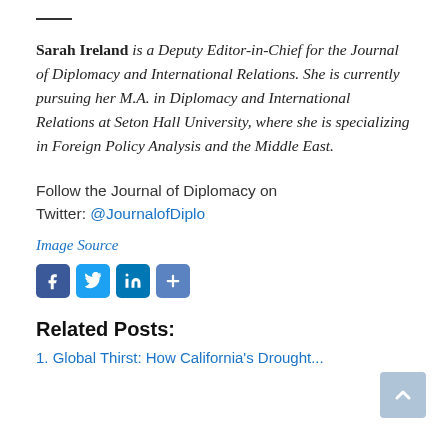Sarah Ireland is a Deputy Editor-in-Chief for the Journal of Diplomacy and International Relations. She is currently pursuing her M.A. in Diplomacy and International Relations at Seton Hall University, where she is specializing in Foreign Policy Analysis and the Middle East.
Follow the Journal of Diplomacy on Twitter: @JournalofDiplo
Image Source
[Figure (other): Social media sharing icons: Facebook, Twitter, LinkedIn, and a share/more button]
Related Posts:
1. Global Thirst: How California's Drought...